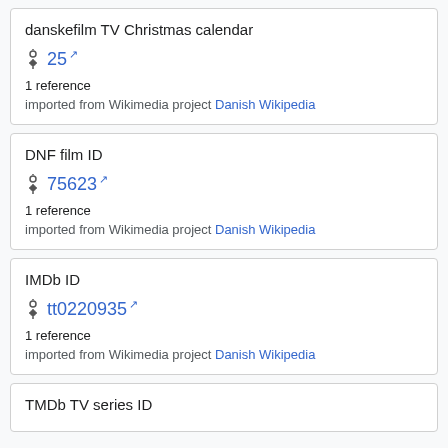danskefilm TV Christmas calendar
25 [external link]
1 reference
imported from Wikimedia project Danish Wikipedia
DNF film ID
75623 [external link]
1 reference
imported from Wikimedia project Danish Wikipedia
IMDb ID
tt0220935 [external link]
1 reference
imported from Wikimedia project Danish Wikipedia
TMDb TV series ID